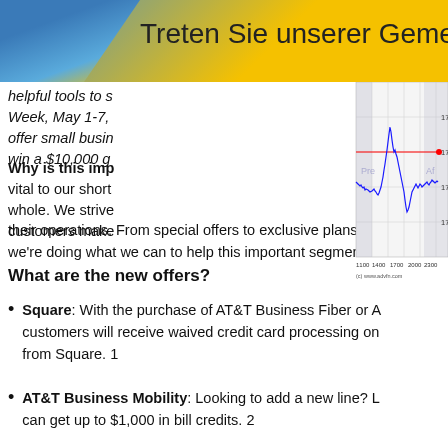Treten Sie unserer Gemeinschaft bei
helpful tools to s... Week, May 1-7, ... offer small busin... win a $10,000 g...
[Figure (continuous-plot): Stock price intraday chart showing price range approximately 17.45-17.6, with x-axis labels 1100, 1400, 1700, 2000, 2300 and a red horizontal line at about 17.55. Blue line chart with Pre and After market shading. Source: (c) www.advfn.com]
Why is this imp... vital to our short... whole. We strive... customers make... their operations. From special offers to exclusive plans... we're doing what we can to help this important segment...
What are the new offers?
Square: With the purchase of AT&T Business Fiber or A... customers will receive waived credit card processing on... from Square. 1
AT&T Business Mobility: Looking to add a new line? L... can get up to $1,000 in bill credits. 2